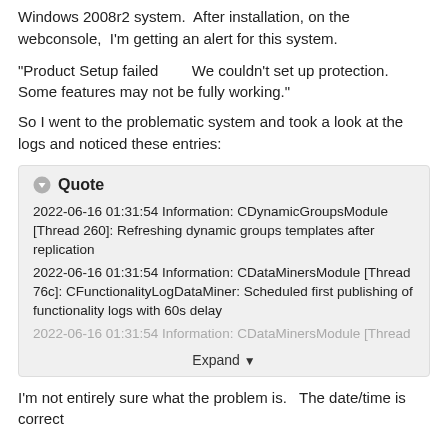Windows 2008r2 system.  After installation, on the webconsole,  I'm getting an alert for this system.
"Product Setup failed          We couldn't set up protection. Some features may not be fully working."
So I went to the problematic system and took a look at the logs and noticed these entries:
Quote
2022-06-16 01:31:54 Information: CDynamicGroupsModule [Thread 260]: Refreshing dynamic groups templates after replication
2022-06-16 01:31:54 Information: CDataMinersModule [Thread 76c]: CFunctionalityLogDataMiner: Scheduled first publishing of functionality logs with 60s delay
2022-06-16 01:31:54 Information: CDataMinersModule [Thread
Expand
I'm not entirely sure what the problem is.   The date/time is correct